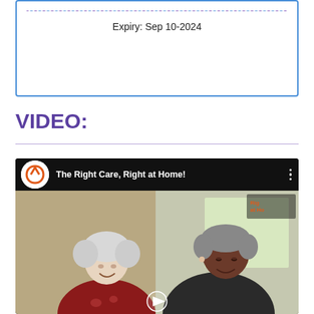[Figure (other): Card box with dotted purple/blue bar at top and expiry date text]
Expiry: Sep 10-2024
VIDEO:
[Figure (screenshot): YouTube-style video thumbnail for 'The Right Care, Right at Home!' showing two elderly women]